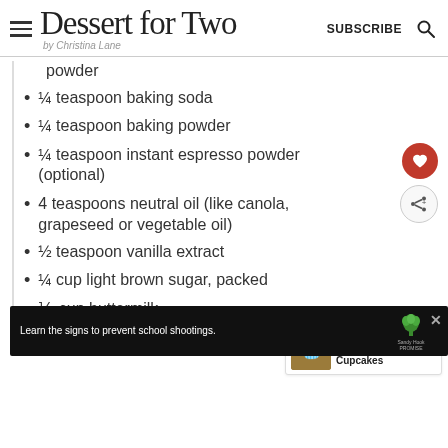Dessert for Two by Christina Lane | SUBSCRIBE
powder
¼ teaspoon baking soda
¼ teaspoon baking powder
¼ teaspoon instant espresso powder (optional)
4 teaspoons neutral oil (like canola, grapeseed or vegetable oil)
½ teaspoon vanilla extract
¼ cup light brown sugar, packed
⅓ cup buttermilk
For the filling and frosting:
[Figure (screenshot): Ad banner at bottom: Learn the signs to prevent school shootings. Sandy Hook Promise logo.]